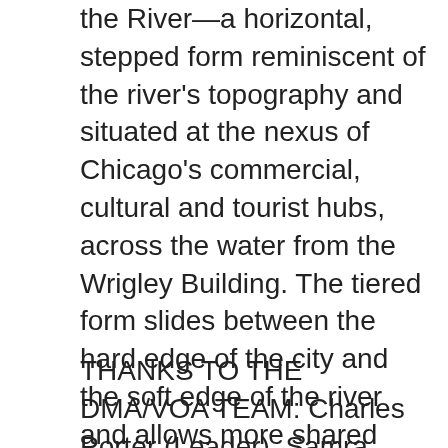the River—a horizontal, stepped form reminiscent of the river's topography and situated at the nexus of Chicago's commercial, cultural and tourist hubs, across the water from the Wrigley Building. The tiered form slides between the hard edge of the city and the soft edge of the river and allows more shared spaces to be carved out for CADE's complex programming. Our design incorporated elements to ensure CADE's environmental and financial sustainability, including spaces for restaurant, retail, hostel, and urban farming uses. We're proud of our entry and pleased to congratulate the competition winners.
THANKS TO THE DMA/VOA TEAM: Charles Porter (Leader), Samra Ansari, Meghan Brown, Jaimie Bulla, Robert